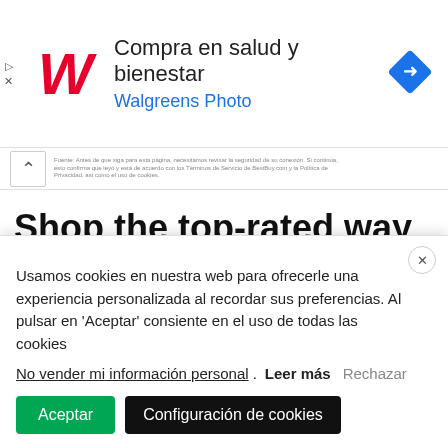[Figure (screenshot): Walgreens ad banner with red W logo, text 'Compra en salud y bienestar' and 'Walgreens Photo', blue navigation arrow diamond icon on right]
Shop the top-rated way
Get the gear you need today and pay
Usamos cookies en nuestra web para ofrecerle una experiencia personalizada al recordar sus preferencias. Al pulsar en 'Aceptar' consiente en el uso de todas las cookies
No vender mi información personal. Leer más Rechazar
Aceptar
Configuración de cookies